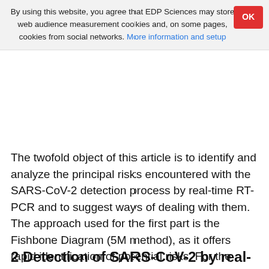By using this website, you agree that EDP Sciences may store web audience measurement cookies and, on some pages, cookies from social networks. More information and setup
The twofold object of this article is to identify and analyze the principal risks encountered with the SARS-CoV-2 detection process by real-time RT-PCR and to suggest ways of dealing with them. The approach used for the first part is the Fishbone Diagram (5M method), as it offers rapid identification of potential risks. For the second part, the identified risks are analyzed in detail through Failure Mode, Effect, and Criticality Analysis (FMECA) and prioritized in terms of the threat they pose, a process that brings to light the corrective and preventive actions that are most urgently needed. The results of the analysis are discussed, and solutions are suggested for each risk.
2 Detection of SARS-CoV-2 by real-time RT-